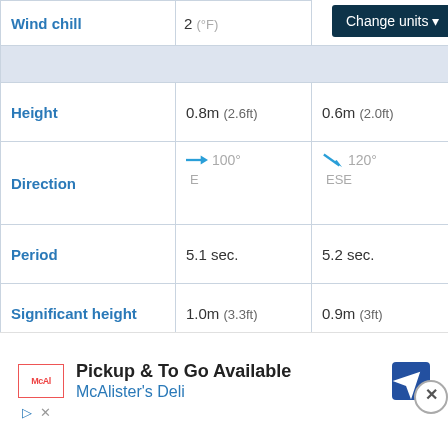|  | Col1 | Col2 |
| --- | --- | --- |
| Wind chill | 2 (°F) | Change units ▾ |
|  |  |  |
| Height | 0.8m (2.6ft) | 0.6m (2.0ft) |
| Direction | → 100° E | ↘ 120° ESE |
| Period | 5.1 sec. | 5.2 sec. |
| Significant height | 1.0m (3.3ft) | 0.9m (3ft) |
|  |  |  |
| Water temperature | 30°C (85°F) | 30°C (85°F) |
[Figure (infographic): McAlister's Deli advertisement with logo, tagline 'Pickup & To Go Available', and navigation icon]